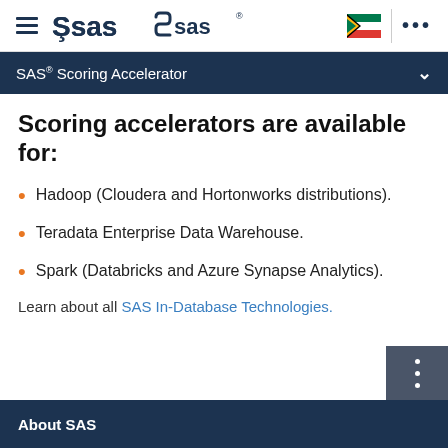SAS logo navigation bar with hamburger menu, SAS logo, South Africa flag, and ellipsis menu
SAS® Scoring Accelerator
Scoring accelerators are available for:
Hadoop (Cloudera and Hortonworks distributions).
Teradata Enterprise Data Warehouse.
Spark (Databricks and Azure Synapse Analytics).
Learn about all SAS In-Database Technologies.
About SAS